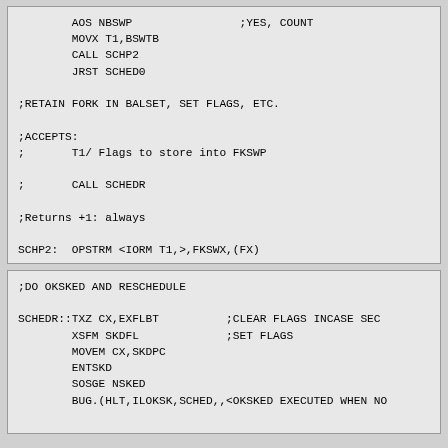AOS NBSWP                ;YES, COUNT
        MOVX T1,BSWTB
        CALL SCHP2
        JRST SCHED0

;RETAIN FORK IN BALSET, SET FLAGS, ETC.

;ACCEPTS:
;       T1/ Flags to store into FKSWP

;       CALL SCHEDR

;Returns +1: always

SCHP2:  OPSTRM <IORM T1,>,FKSWX,(FX)
        SKIPE NSKED
        MOVEM FX,SSKED          ;REMEMBER FORK NUMBER O
        SETOB FX,FORKX
        RET
;DO OKSKED AND RESCHEDULE

SCHEDR::TXZ CX,EXFLBT          ;CLEAR FLAGS INCASE SEC
        XSFM SKDFL              ;SET FLAGS
        MOVEM CX,SKDPC
        ENTSKD
        SOSGE NSKED
        BUG.(HLT,ILOKSK,SCHED,,<OKSKED EXECUTED WHEN NO